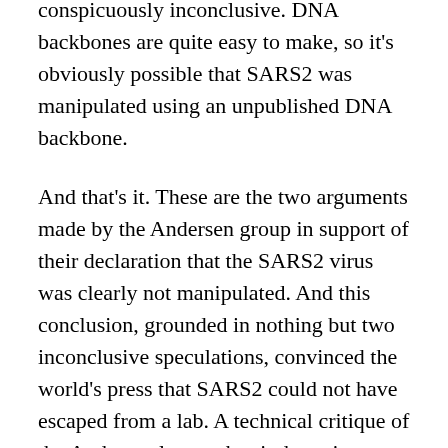conspicuously inconclusive. DNA backbones are quite easy to make, so it's obviously possible that SARS2 was manipulated using an unpublished DNA backbone.
And that's it. These are the two arguments made by the Andersen group in support of their declaration that the SARS2 virus was clearly not manipulated. And this conclusion, grounded in nothing but two inconclusive speculations, convinced the world's press that SARS2 could not have escaped from a lab. A technical critique of the Andersen letter takes it down in harsher words.
Science is supposedly a self-correcting community of experts who constantly check each other's work. So why didn't other virologists point out that the Andersen group's argument was full of absurdly large holes? Perhaps because in today's universities speech can be very costly. Careers can be destroyed for stepping out of line. Any